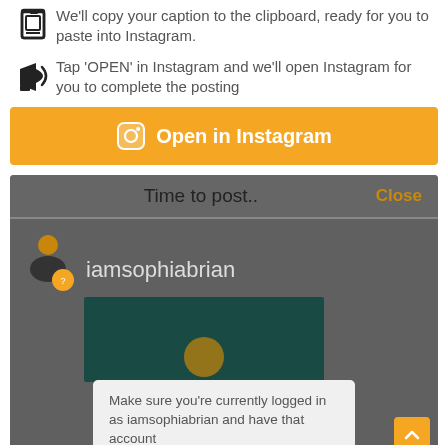We'll copy your caption to the clipboard, ready for you to paste into Instagram.
Tap 'OPEN' in Instagram and we'll open Instagram for you to complete the posting
[Figure (screenshot): Orange button labeled 'Open in Instagram' with Instagram camera icon]
[Figure (screenshot): Mobile app screenshot showing 'Time to post..' dialog with username iamsophiabrian, a dark teal image area, and a popup saying 'Make sure you're currently logged in as iamsophiabrian and have that account'. Orange scroll-to-top button visible bottom right.]